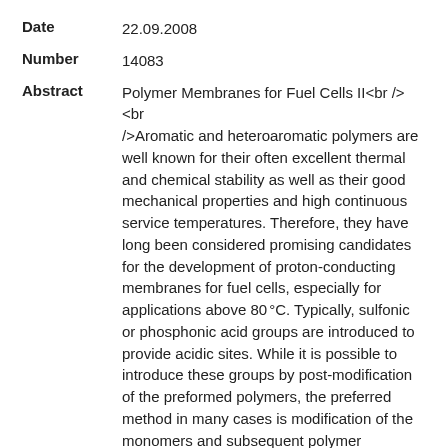Date: 22.09.2008
Number: 14083
Abstract: Polymer Membranes for Fuel Cells II<br /><br />Aromatic and heteroaromatic polymers are well known for their often excellent thermal and chemical stability as well as their good mechanical properties and high continuous service temperatures. Therefore, they have long been considered promising candidates for the development of proton-conducting membranes for fuel cells, especially for applications above 80 °C. Typically, sulfonic or phosphonic acid groups are introduced to provide acidic sites. While it is possible to introduce these groups by post-modification of the preformed polymers, the preferred method in many cases is modification of the monomers and subsequent polymer synthesis, because this allows better control of the number, distribution, and position of the acidic sites. Compared to perfluorosulfonic acid polymers, such as Nafion, proton-conducting membranes based on